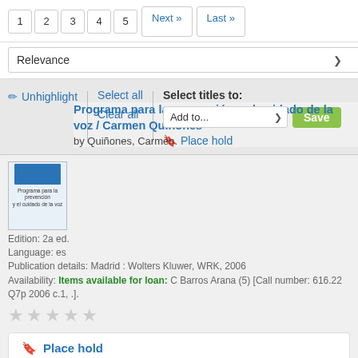[Figure (screenshot): Pagination bar with page numbers 1 2 3 4 5, Next and Last navigation links]
[Figure (screenshot): Relevance dropdown selector]
[Figure (screenshot): Toolbar with Unhighlight, Select all, Clear all, Select titles to: Add to... dropdown, Save button, Place hold option]
[Figure (screenshot): Book cover thumbnail for Programa para la prevención y el cuidado de la voz]
Programa para la prevención y el cuidado de la voz / Carmen Quiñones
by Quiñones, Carmen.
Edition: 2a ed.
Language: es
Publication details: Madrid : Wolters Kluwer, WRK, 2006
Availability: Items available for loan: C Barros Arana (5) [Call number: 616.22 Q7p 2006 c.1, .].
[Figure (other): 5-star rating widget showing empty/grey stars]
Place hold